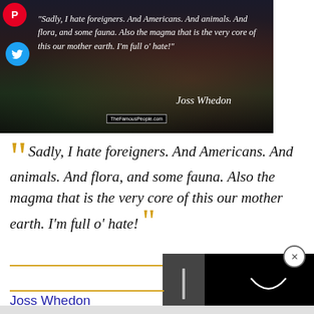[Figure (photo): Dark scenic background image with quote overlay. Shows a lake or pond with trees, dark atmospheric. White italic quote text reads: 'Sadly, I hate foreigners. And Americans. And animals. And flora, and some fauna. Also the magma that is the very core of this our mother earth. I'm full o' hate!' with attribution 'Joss Whedon' and TheFamousPeople.com watermark. Pinterest and Twitter share buttons visible.]
“Sadly, I hate foreigners. And Americans. And animals. And flora, and some fauna. Also the magma that is the very core of this our mother earth. I'm full o' hate!”
Joss Whedon